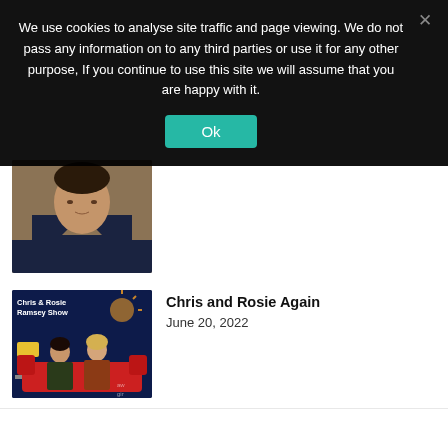We use cookies to analyse site traffic and page viewing. We do not pass any information on to any third parties or use it for any other purpose, If you continue to use this site we will assume that you are happy with it.
Ok
[Figure (photo): Partial view of a man in a dark navy v-neck sweater against a warm background]
[Figure (photo): Promotional image for 'the Chris & Rosie Ramsey Show' showing two people (a man and a woman) seated on a red sofa against a dark blue background]
Chris and Rosie Again
June 20, 2022
BACK TO TOP
Rose Matafeo Starstruck Again